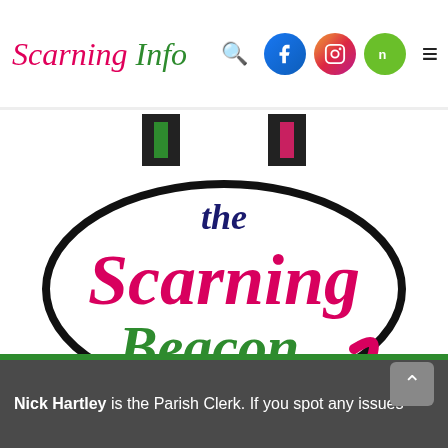Scarning Info — navigation header with search, Facebook, Instagram, Nextdoor icons and hamburger menu
[Figure (logo): The Scarning Beacon logo: an oval outlined shape with two decorative hanging ornament clips at top. Inside: 'the' in dark navy script, 'Scarning' in large pink/magenta script, 'Beacon' in large green script. Pink decorative flourish at bottom right.]
Nick Hartley is the Parish Clerk. If you spot any issues